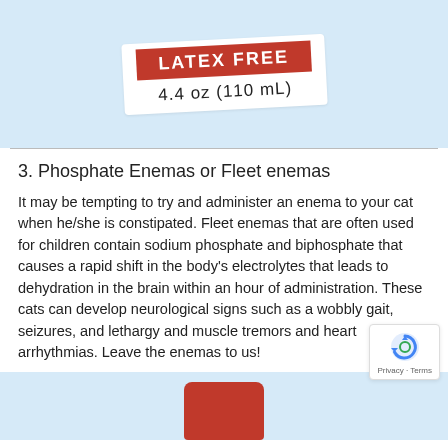[Figure (photo): Close-up of a product label showing 'LATEX FREE' in white text on a red banner, with text below reading '4.4 oz (110 mL)', on a light blue background.]
3. Phosphate Enemas or Fleet enemas
It may be tempting to try and administer an enema to your cat when he/she is constipated. Fleet enemas that are often used for children contain sodium phosphate and biphosphate that causes a rapid shift in the body's electrolytes that leads to dehydration in the brain within an hour of administration. These cats can develop neurological signs such as a wobbly gait, seizures, and lethargy and muscle tremors and heart arrhythmias. Leave the enemas to us!
[Figure (photo): Partial view of a red product can (Fleet enema) on a light blue background, cropped at bottom of page.]